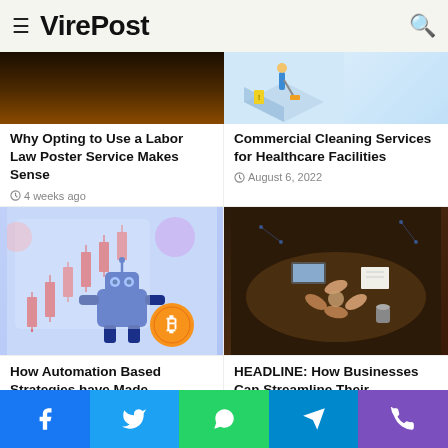VirePost
[Figure (photo): Dark building at night with warm orange windows]
[Figure (illustration): Isometric illustration of commercial cleaning services]
Why Opting to Use a Labor Law Poster Service Makes Sense
4 weeks ago
Commercial Cleaning Services for Healthcare Facilities
August 6, 2022
[Figure (illustration): Cryptocurrency trading robot with bitcoin symbol and candlestick chart]
[Figure (photo): Business people joining hands over a table with laptops]
How Automation Based Strategies have Made Cryptocurrency Trades More Profitable When it Comes to
HEADLINE: How Businesses Can Streamline Their Processes Better
May 5, 2022